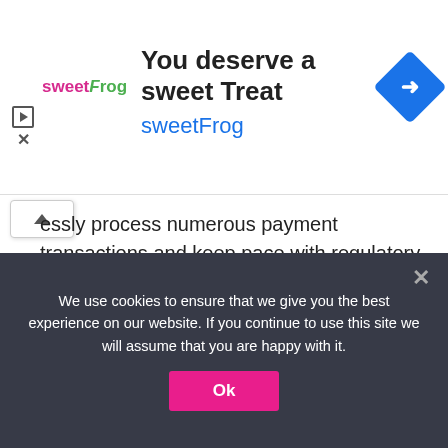[Figure (infographic): sweetFrog advertisement banner with logo, 'You deserve a sweet Treat' headline, sweetFrog brand name in blue, and a blue diamond-shaped navigation icon]
essly process numerous payment transactions and keep pace with regulatory compliance. It also enables financial institutions to rapidly configure new payment offerings and orchestrate transaction flows across multiple systems by reusing the technology.
Using a phased, agile approach that includes introducing the new system alongside the legacy one, banks and credit unions can upscale step by step, service by service, and
We use cookies to ensure that we give you the best experience on our website. If you continue to use this site we will assume that you are happy with it.